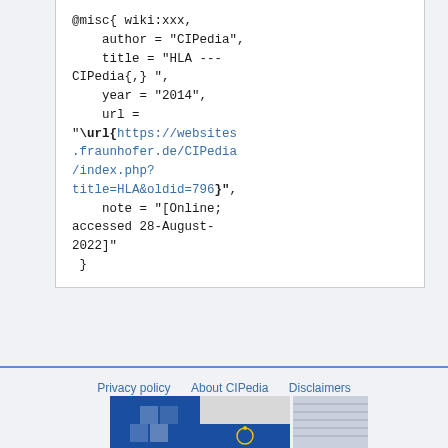@misc{ wiki:xxx,
    author = "CIPedia",
    title = "HLA ---CIPedia{,} ",
    year = "2014",
    url = "\url{https://websites.fraunhofer.de/CIPedia/index.php?title=HLA&oldid=796}",
    note = "[Online; accessed 28-August-2022]"
}
Privacy policy   About CIPedia   Disclaimers